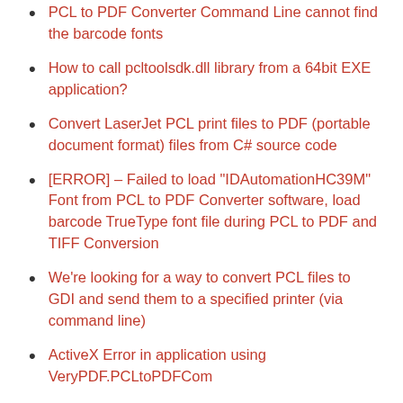PCL to PDF Converter Command Line cannot find the barcode fonts
How to call pcltoolsdk.dll library from a 64bit EXE application?
Convert LaserJet PCL print files to PDF (portable document format) files from C# source code
[ERROR] – Failed to load "IDAutomationHC39M" Font from PCL to PDF Converter software, load barcode TrueType font file during PCL to PDF and TIFF Conversion
We're looking for a way to convert PCL files to GDI and send them to a specified printer (via command line)
ActiveX Error in application using VeryPDF.PCLtoPDFCom
[VeryPDF Release Notes] VeryPDF Releases a new version of PCL to Any Converter Shell (Command